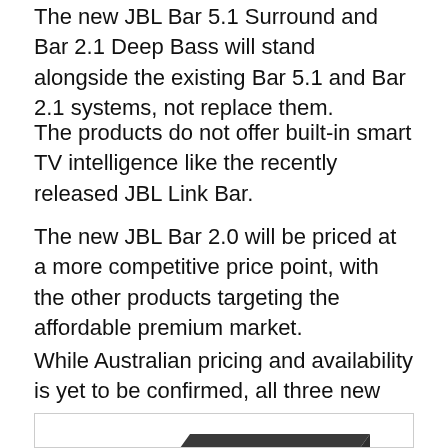The new JBL Bar 5.1 Surround and Bar 2.1 Deep Bass will stand alongside the existing Bar 5.1 and Bar 2.1 systems, not replace them.
The products do not offer built-in smart TV intelligence like the recently released JBL Link Bar.
The new JBL Bar 2.0 will be priced at a more competitive price point, with the other products targeting the affordable premium market.
While Australian pricing and availability is yet to be confirmed, all three new models will release internationally later this year.
[Figure (photo): Photo of a dark/black JBL subwoofer speaker box, rectangular shape, photographed against a white background inside a bordered image box.]